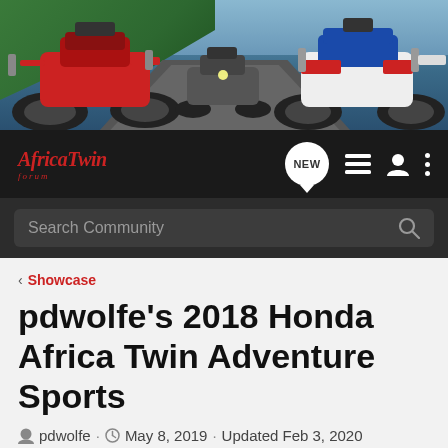[Figure (photo): Hero banner showing motorcycles riding on a mountain road. A red Honda Africa Twin on the left, motorcycles in the center distance, and a blue/white/red Honda Africa Twin on the right. Green vegetation and mountains in the background.]
[Figure (logo): AfricaTwin Forum logo in red italic script text on dark background, with nav icons including NEW button, list icon, user icon, and dots menu.]
Search Community
< Showcase
pdwolfe's 2018 Honda Africa Twin Adventure Sports
pdwolfe · May 8, 2019 · Updated Feb 3, 2020
+ Follow